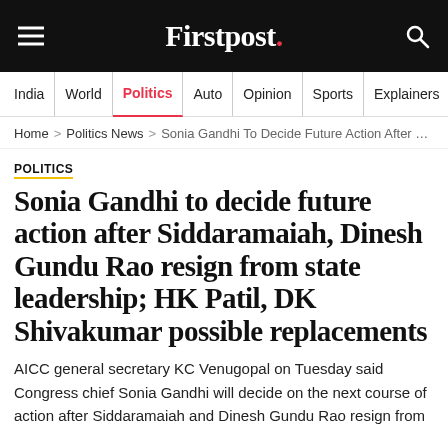Firstpost.
India | World | Politics | Auto | Opinion | Sports | Explainers
Home > Politics News > Sonia Gandhi To Decide Future Action After Siddar…
POLITICS
Sonia Gandhi to decide future action after Siddaramaiah, Dinesh Gundu Rao resign from state leadership; HK Patil, DK Shivakumar possible replacements
AICC general secretary KC Venugopal on Tuesday said Congress chief Sonia Gandhi will decide on the next course of action after Siddaramaiah and Dinesh Gundu Rao resign from